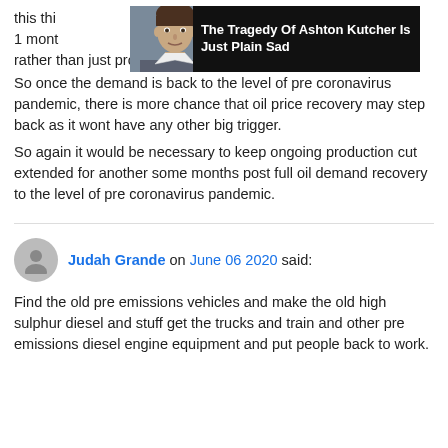this thi... m last 1 mont... ery rather than just production cut.
[Figure (screenshot): Advertisement overlay showing a man's photo on left and dark banner with text 'The Tragedy Of Ashton Kutcher Is Just Plain Sad' on dark background]
So once the demand is back to the level of pre coronavirus pandemic, there is more chance that oil price recovery may step back as it wont have any other big trigger.
So again it would be necessary to keep ongoing production cut extended for another some months post full oil demand recovery to the level of pre coronavirus pandemic.
Judah Grande on June 06 2020 said:
Find the old pre emissions vehicles and make the old high sulphur diesel and stuff get the trucks and train and other pre emissions diesel engine equipment and put people back to work.